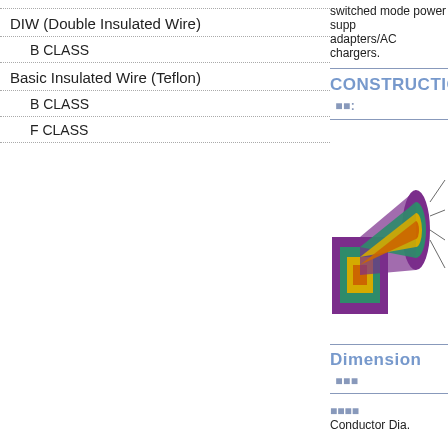DIW (Double Insulated Wire)
B CLASS
Basic Insulated Wire (Teflon)
B CLASS
F CLASS
switched mode power supply adapters/AC chargers.
CONSTRUCTION ■■:
[Figure (illustration): Cross-section diagram of a cable showing layers: purple outer jacket, teal inner layer, yellow insulation, and orange/copper conductor at center, with indicator lines pointing to each layer.]
Dimension ■■■
■■■■
Conductor Dia.

mm